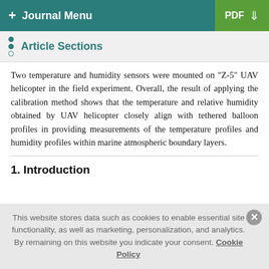+ Journal Menu | PDF ↓
Article Sections
Two temperature and humidity sensors were mounted on "Z-5" UAV helicopter in the field experiment. Overall, the result of applying the calibration method shows that the temperature and relative humidity obtained by UAV helicopter closely align with tethered balloon profiles in providing measurements of the temperature profiles and humidity profiles within marine atmospheric boundary layers.
1. Introduction
This website stores data such as cookies to enable essential site functionality, as well as marketing, personalization, and analytics. By remaining on this website you indicate your consent. Cookie Policy